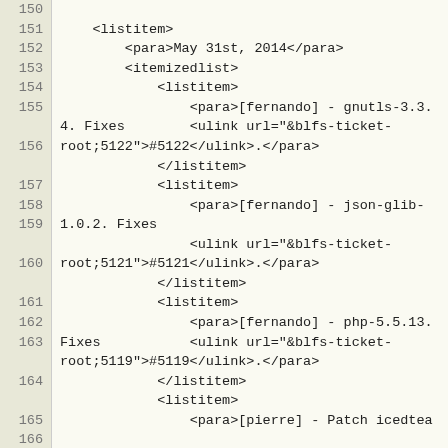Source code listing lines 150-167 showing XML markup for a BLFS (Beyond Linux From Scratch) changelog document
150: (blank)
151:     <listitem>
152:         <para>May 31st, 2014</para>
153:         <itemizedlist>
154:             <listitem>
155:                 <para>[fernando] - gnutls-3.3.4. Fixes
156:                 <ulink url="&blfs-ticket-root;5122">#5122</ulink>.</para>
157:             </listitem>
158:             <listitem>
159:                 <para>[fernando] - json-glib-1.0.2. Fixes
160:                 <ulink url="&blfs-ticket-root;5121">#5121</ulink>.</para>
161:             </listitem>
162:             <listitem>
163:                 <para>[fernando] - php-5.5.13. Fixes
164:                 <ulink url="&blfs-ticket-root;5119">#5119</ulink>.</para>
165:             </listitem>
166:             <listitem>
167:                 <para>[pierre] - Patch icedtea